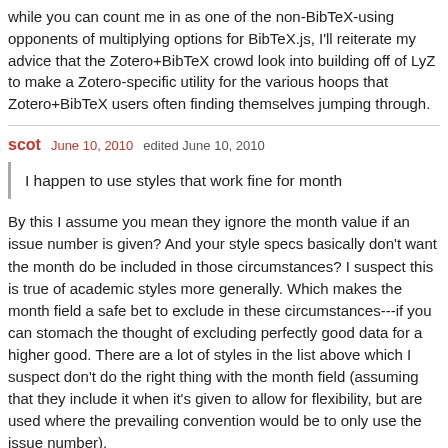while you can count me in as one of the non-BibTeX-using opponents of multiplying options for BibTeX.js, I'll reiterate my advice that the Zotero+BibTeX crowd look into building off of LyZ to make a Zotero-specific utility for the various hoops that Zotero+BibTeX users often finding themselves jumping through.
scot  June 10, 2010  edited June 10, 2010
I happen to use styles that work fine for month
By this I assume you mean they ignore the month value if an issue number is given? And your style specs basically don't want the month do be included in those circumstances? I suspect this is true of academic styles more generally. Which makes the month field a safe bet to exclude in these circumstances---if you can stomach the thought of excluding perfectly good data for a higher good. There are a lot of styles in the list above which I suspect don't do the right thing with the month field (assuming that they include it when it's given to allow for flexibility, but are used where the prevailing convention would be to only use the issue number).